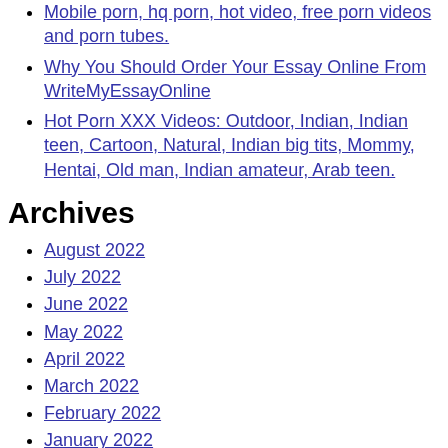Mobile porn, hq porn, hot video, free porn videos and porn tubes.
Why You Should Order Your Essay Online From WriteMyEssayOnline
Hot Porn XXX Videos: Outdoor, Indian, Indian teen, Cartoon, Natural, Indian big tits, Mommy, Hentai, Old man, Indian amateur, Arab teen.
Archives
August 2022
July 2022
June 2022
May 2022
April 2022
March 2022
February 2022
January 2022
December 2021